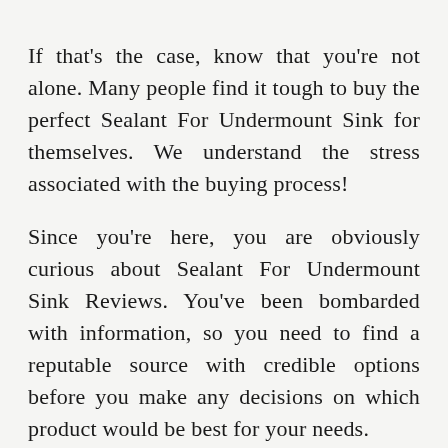If that's the case, know that you're not alone. Many people find it tough to buy the perfect Sealant For Undermount Sink for themselves. We understand the stress associated with the buying process! Since you're here, you are obviously curious about Sealant For Undermount Sink Reviews. You've been bombarded with information, so you need to find a reputable source with credible options before you make any decisions on which product would be best for your needs. There are many sources that'll provide you with that information- buying guides or ratings websites, word-of-mouth testimonials from friends or family members, online forums where users share their personal experiences, product reviews